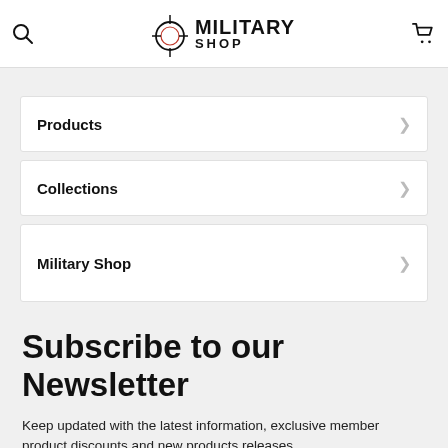Military Shop
Products
Collections
Military Shop
Subscribe to our Newsletter
Keep updated with the latest information, exclusive member product discounts and new products releases.